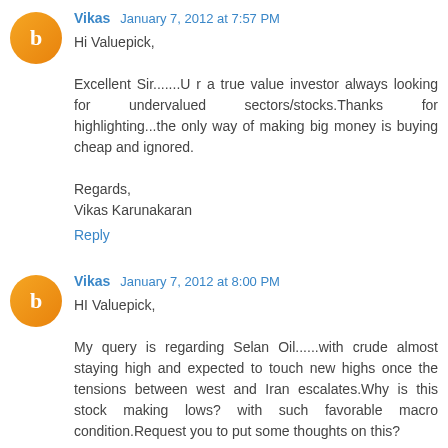Vikas January 7, 2012 at 7:57 PM
Hi Valuepick,

Excellent Sir.......U r a true value investor always looking for undervalued sectors/stocks.Thanks for highlighting...the only way of making big money is buying cheap and ignored.

Regards,
Vikas Karunakaran
Reply
Vikas January 7, 2012 at 8:00 PM
HI Valuepick,

My query is regarding Selan Oil......with crude almost staying high and expected to touch new highs once the tensions between west and Iran escalates.Why is this stock making lows? with such favorable macro condition.Request you to put some thoughts on this?